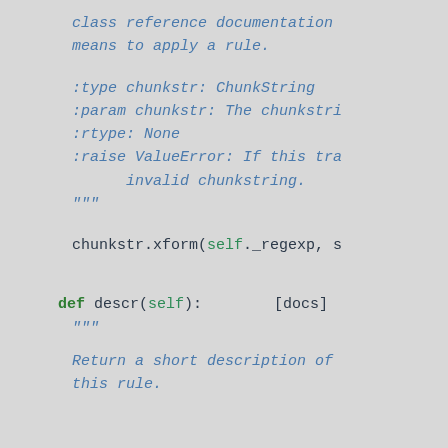class reference documentation
means to apply a rule.
:type chunkstr: ChunkString
:param chunkstr: The chunkstr
:rtype: None
:raise ValueError: If this tr
      invalid chunkstring.
"""
chunkstr.xform(self._regexp, s
def descr(self):        [docs]
    """
    Return a short description of
    this rule.